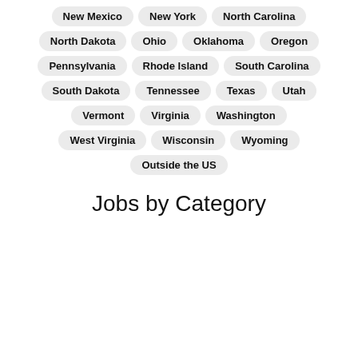New Mexico
New York
North Carolina
North Dakota
Ohio
Oklahoma
Oregon
Pennsylvania
Rhode Island
South Carolina
South Dakota
Tennessee
Texas
Utah
Vermont
Virginia
Washington
West Virginia
Wisconsin
Wyoming
Outside the US
Jobs by Category